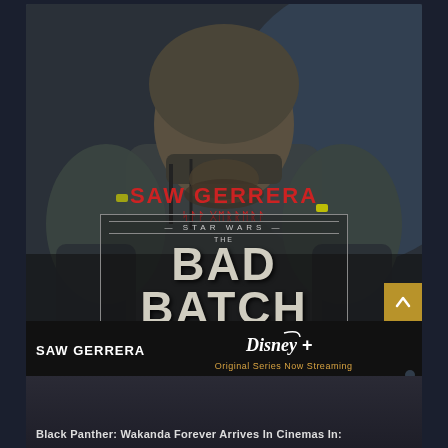[Figure (illustration): Star Wars: The Bad Batch promotional image featuring Saw Gerrera character in clone trooper armor. The image shows a close-up of the character from the chest up against a dark background. Text overlays show 'SAW GERRERA' in red with Aurebesh script below, and the 'Star Wars: The Bad Batch' logo in the center with weathered/distressed styling. Bottom bar shows 'SAW GERRERA' text, Disney+ logo, and 'Original Series Now Streaming' text.]
Black Panther: Wakanda Forever Arrives In Cinemas In: